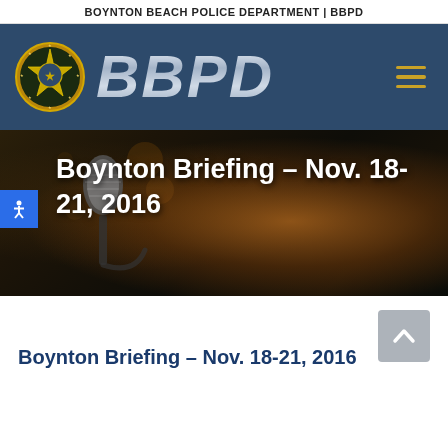BOYNTON BEACH POLICE DEPARTMENT | BBPD
[Figure (screenshot): BBPD navigation header with police badge logo on dark blue background and BBPD text in silver/gray metallic style, hamburger menu icon in gold]
[Figure (photo): Hero banner image showing a microphone in foreground with blurred bokeh background, overlaid with white bold text reading 'Boynton Briefing – Nov. 18-21, 2016'. Blue accessibility icon on left.]
Boynton Briefing – Nov. 18-21, 2016